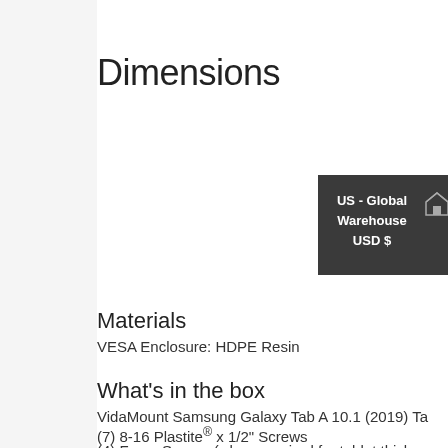Dimensions
[Figure (infographic): Dark popup box showing 'US - Global Warehouse USD $' with a warehouse/home icon on the right edge]
Materials
VESA Enclosure: HDPE Resin
What's in the box
VidaMount Samsung Galaxy Tab A 10.1 (2019) Ta...
(7) 8-16 Plastite® x 1/2" Screws
(4) Foam Spacer (when required for tablet thickn...